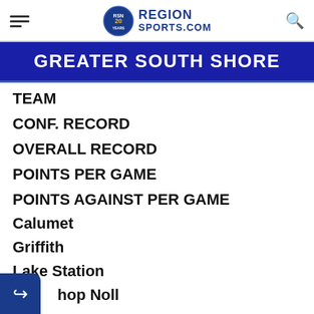Region Sports.Com
GREATER SOUTH SHORE
TEAM
CONF. RECORD
OVERALL RECORD
POINTS PER GAME
POINTS AGAINST PER GAME
Calumet
Griffith
Lake Station
Bishop Noll